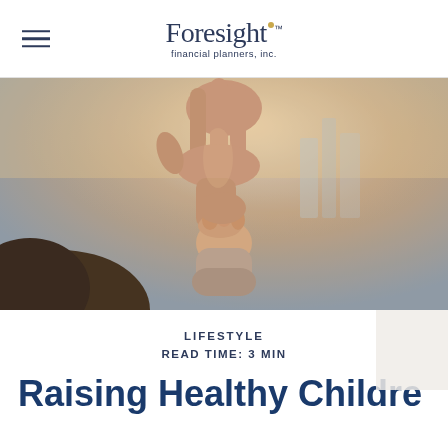Foresight financial planners, inc.
[Figure (photo): Close-up photograph of an adult hand holding a small child's hand, warm golden/sunset light, blurred city background.]
LIFESTYLE
READ TIME: 3 MIN
Raising Healthy Children